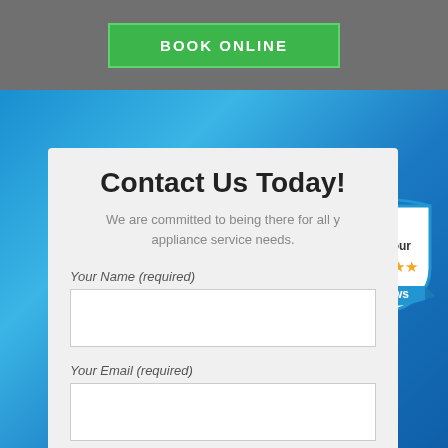BOOK ONLINE
Contact Us Today!
We are committed to being there for all your appliance service needs.
[Figure (illustration): Shield badge with 'Read our' text, five gold stars, and 'Reviews' banner in blue]
Your Name (required)
Your Email (required)
Subject